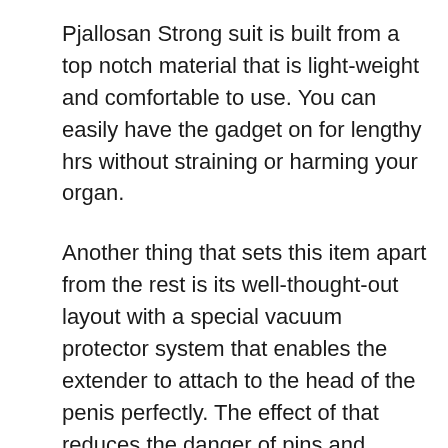Pjallosan Strong suit is built from a top notch material that is light-weight and comfortable to use. You can easily have the gadget on for lengthy hrs without straining or harming your organ.
Another thing that sets this item apart from the rest is its well-thought-out layout with a special vacuum protector system that enables the extender to attach to the head of the penis perfectly. The effect of that reduces the danger of pins and needles for your penis.
Lastly, this extender is pretty easy to use with simple-to-follow guidelines as well as methods. Make certain to follow those the enable to get the very best results within